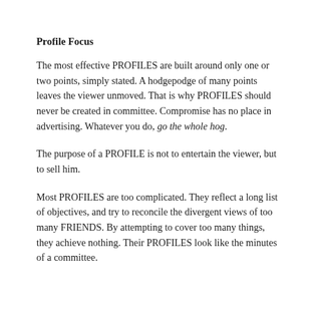Profile Focus
The most effective PROFILES are built around only one or two points, simply stated. A hodgepodge of many points leaves the viewer unmoved. That is why PROFILES should never be created in committee. Compromise has no place in advertising. Whatever you do, go the whole hog.
The purpose of a PROFILE is not to entertain the viewer, but to sell him.
Most PROFILES are too complicated. They reflect a long list of objectives, and try to reconcile the divergent views of too many FRIENDS. By attempting to cover too many things, they achieve nothing. Their PROFILES look like the minutes of a committee.